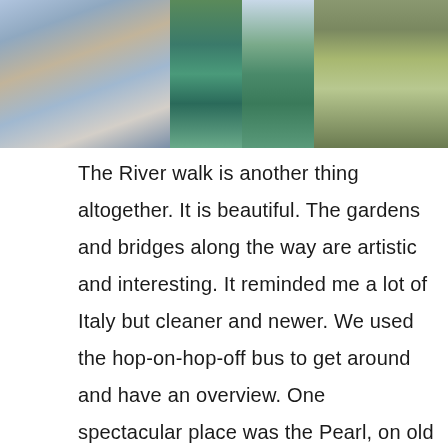[Figure (photo): A strip of four travel photos: (1) two people posing in front of a historic stone building, (2) a scenic river walk with a stone bridge and greenery, (3) a man standing beside a waterway with lush vegetation, (4) a river walk scene with trees and stone paving.]
The River walk is another thing altogether. It is beautiful. The gardens and bridges along the way are artistic and interesting. It reminded me a lot of Italy but cleaner and newer. We used the hop-on-hop-off bus to get around and have an overview. One spectacular place was the Pearl, on old brewery site now turned into residential high-rise with market places and restaurants. As it was Saturday there was music and lots of people sitting on the grass eating ice-cream and shopping at the markets. We walked about 3 miles from there to the main part of the